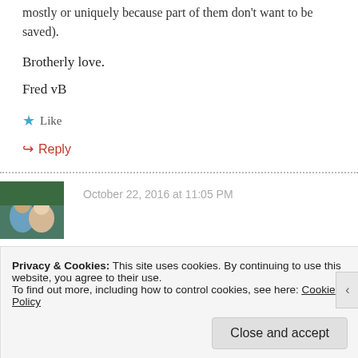mostly or uniquely because part of them don't want to be saved).
Brotherly love.
Fred vB
★ Like
↪ Reply
October 22, 2016 at 11:05 PM
Privacy & Cookies: This site uses cookies. By continuing to use this website, you agree to their use. To find out more, including how to control cookies, see here: Cookie Policy
Close and accept